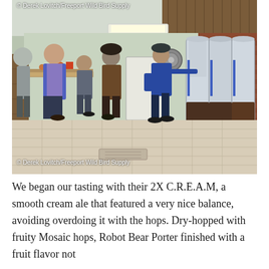[Figure (photo): Indoor brewery tour scene. A guide in a blue jacket and cap gestures toward large stainless steel brewing tanks on the right side of the room. Several visitors stand to the left observing. The room has a tiled floor, white and green walls, wooden shelving, and a brick wall on the right. A fluorescent light is visible on the ceiling.]
© Derek Lovitch/Freeport Wild Bird Supply
© Derek Lovitch/Freeport Wild Bird Supply
We began our tasting with their 2X C.R.E.A.M, a smooth cream ale that featured a very nice balance, avoiding overdoing it with the hops. Dry-hopped with fruity Mosaic hops, Robot Bear Porter finished with a fruit flavor not